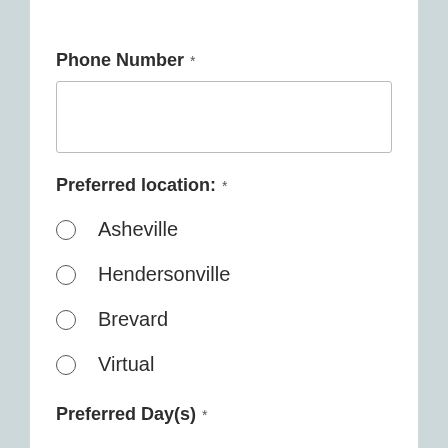Phone Number *
Preferred location: *
Asheville
Hendersonville
Brevard
Virtual
Preferred Day(s) *